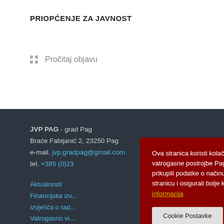PRIOPĆENJE ZA JAVNOST
Pročitaj objavu
JVP PAG - grad Pag
Braće Fabijanić 2, 23250 Pag
e-mail. jvp.gradpag@gmail.com
tel. +385 (0)23
Aktualnosti
Financijska izv...
Izvješća o rad...
Vatrogasno vi...
Odluke Vatrog...
Ova stranica koristi kolačiće - Na web stranici Javne vatrogasne postrojbe Pag koristimo kolačiće kako bi prikupili podatke o načinu kako posjetitelji koriste našu stranicu i osigurali bolje korisničko iskustvo. više informacija
Cookie Postavke | Prihvati sve